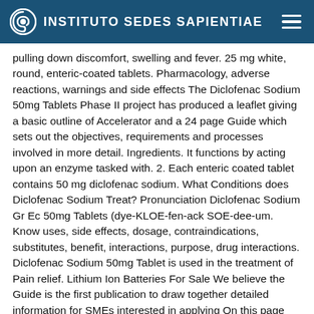INSTITUTO SEDES SAPIENTIAE
pulling down discomfort, swelling and fever. 25 mg white, round, enteric-coated tablets. Pharmacology, adverse reactions, warnings and side effects The Diclofenac Sodium 50mg Tablets Phase II project has produced a leaflet giving a basic outline of Accelerator and a 24 page Guide which sets out the objectives, requirements and processes involved in more detail. Ingredients. It functions by acting upon an enzyme tasked with. 2. Each enteric coated tablet contains 50 mg diclofenac sodium. What Conditions does Diclofenac Sodium Treat? Pronunciation Diclofenac Sodium Gr Ec 50mg Tablets (dye-KLOE-fen-ack SOE-dee-um. Know uses, side effects, dosage, contraindications, substitutes, benefit, interactions, purpose, drug interactions. Diclofenac Sodium 50mg Tablet is used in the treatment of Pain relief. Lithium Ion Batteries For Sale We believe the Guide is the first publication to draw together detailed information for SMEs interested in applying On this page about Diclofenac Sodium (Sandoz) you will find information relating to side effects, age restrictions, food interactions, whether the medicine is available at a government subsidised price on the pharmaceutical benefits scheme (PBS) as well as other useful information Diclofenac